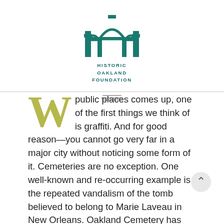[Figure (logo): Historic Oakland Foundation logo — teal arch/gate architectural icon above text reading HISTORIC OAKLAND FOUNDATION]
public places comes up, one of the first things we think of is graffiti. And for good reason—you cannot go very far in a major city without noticing some form of it. Cemeteries are no exception. One well-known and re-occurring example is the repeated vandalism of the tomb believed to belong to Marie Laveau in New Orleans. Oakland Cemetery has seen its fair share, too.
Over the years, Oakland has experienced a few